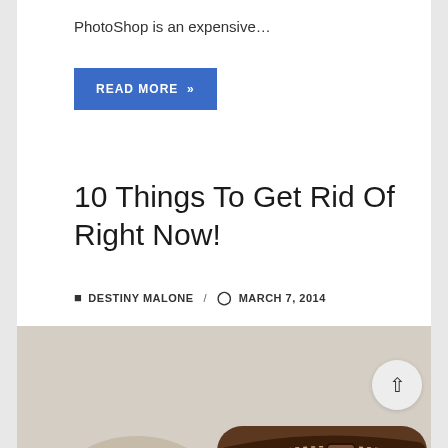PhotoShop is an expensive...
READ MORE »
10 Things To Get Rid Of Right Now!
DESTINY MALONE / MARCH 7, 2014
[Figure (photo): Close-up photo of brown leather sandals/shoes with suede detailing on a light background]